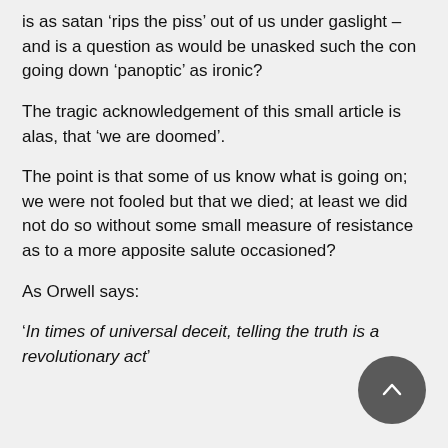is as satan ‘rips the piss’ out of us under gaslight – and is a question as would be unasked such the con going down ‘panoptic’ as ironic?
The tragic acknowledgement of this small article is alas, that ‘we are doomed’.
The point is that some of us know what is going on; we were not fooled but that we died; at least we did not do so without some small measure of resistance as to a more apposite salute occasioned?
As Orwell says:
‘In times of universal deceit, telling the truth is a revolutionary act’